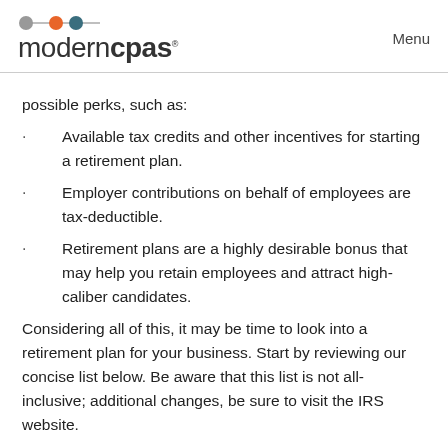moderncpas  Menu
possible perks, such as:
Available tax credits and other incentives for starting a retirement plan.
Employer contributions on behalf of employees are tax-deductible.
Retirement plans are a highly desirable bonus that may help you retain employees and attract high-caliber candidates.
Considering all of this, it may be time to look into a retirement plan for your business. Start by reviewing our concise list below. Be aware that this list is not all-inclusive; additional changes, be sure to visit the IRS website.